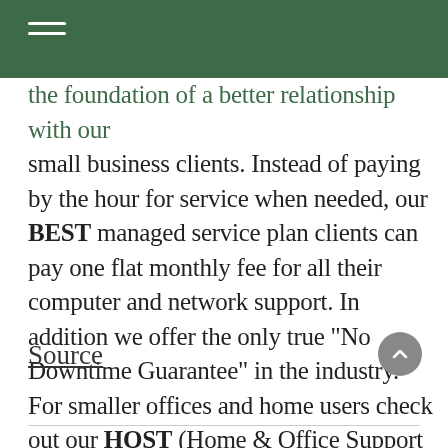the foundation of a better relationship with our small business clients. Instead of paying by the hour for service when needed, our BEST managed service plan clients can pay one flat monthly fee for all their computer and network support. In addition we offer the only true “No Downtime Guarantee” in the industry. For smaller offices and home users check out our HOST (Home & Office Support Technology) managed service plans too.
Source